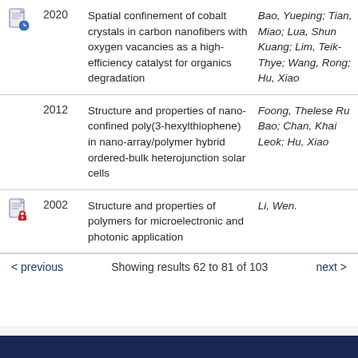|  | Year | Title | Authors |
| --- | --- | --- | --- |
| [icon-doc-clock] | 2020 | Spatial confinement of cobalt crystals in carbon nanofibers with oxygen vacancies as a high-efficiency catalyst for organics degradation | Bao, Yueping; Tian, Miao; Lua, Shun Kuang; Lim, Teik-Thye; Wang, Rong; Hu, Xiao |
|  | 2012 | Structure and properties of nano-confined poly(3-hexylthiophene) in nano-array/polymer hybrid ordered-bulk heterojunction solar cells | Foong, Thelese Ru Bao; Chan, Khai Leok; Hu, Xiao |
| [icon-doc-lock] | 2002 | Structure and properties of polymers for microelectronic and photonic application | Li, Wen. |
< previous   Showing results 62 to 81 of 103   next >